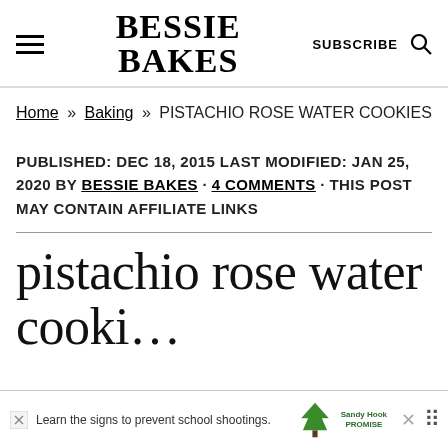BESSIE BAKES — SUBSCRIBE
Home » Baking » PISTACHIO ROSE WATER COOKIES
PUBLISHED: DEC 18, 2015 LAST MODIFIED: JAN 25, 2020 BY BESSIE BAKES · 4 COMMENTS · THIS POST MAY CONTAIN AFFILIATE LINKS
pistachio rose water cookies
[Figure (other): Advertisement banner for Sandy Hook Promise reading 'Learn the signs to prevent school shootings.']